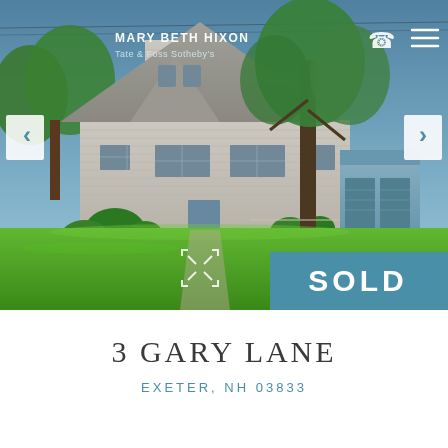[Figure (photo): Exterior photo of a white Cape Cod style house with grey roof at 3 Gary Lane, Exeter NH. Large green lawn in foreground, trees on right side. A blue detached garage is visible to the right. Blue sky background. Navigation arrows on left and right sides. Agent name 'MARY BETH HIXON / Tate & Foss Sotheby's' overlaid in upper left. Phone and menu icons in upper right. SOLD badge in blue in lower right corner.]
3 GARY LANE
EXETER, NH 03833